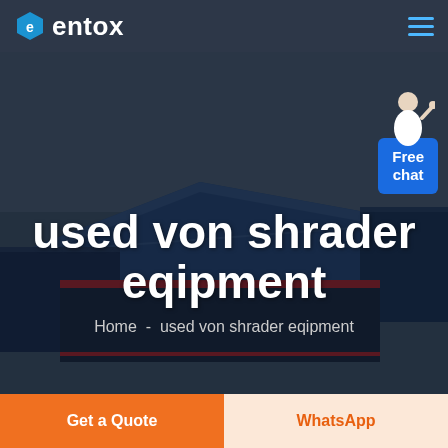entox
[Figure (screenshot): Aerial/drone view of a large industrial warehouse facility with blue roofing panels, surrounded by flat land. Dark overlay applied. Contains hero title text and breadcrumb navigation, and a 'Free chat' button widget in the upper right corner with a customer service representative illustration.]
used von shrader eqipment
Home  -  used von shrader eqipment
Get a Quote
WhatsApp